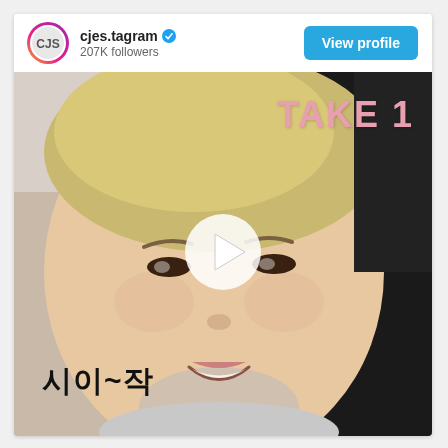[Figure (screenshot): Instagram-style social media card with profile header showing cjes.tagram account with 207K followers, a View profile button, and a video thumbnail of a young man with blonde hair. The video has 'TAKE 1' text in pink in the upper right and Korean text '시이~작' in the lower left, with a white play button overlay in the center.]